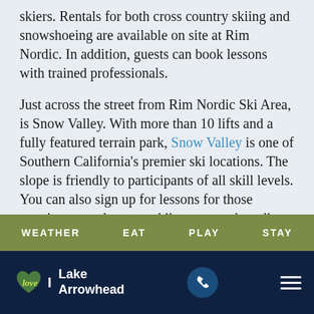skiers. Rentals for both cross country skiing and snowshoeing are available on site at Rim Nordic. In addition, guests can book lessons with trained professionals.
Just across the street from Rim Nordic Ski Area, is Snow Valley. With more than 10 lifts and a fully featured terrain park, Snow Valley is one of Southern California's premier ski locations. The slope is friendly to participants of all skill levels. You can also sign up for lessons for those wanting to get better at skiing or snowboarding. If you're not into going down winter slopes at fast speeds, you can also consider cross
WEATHER   EAT   PLAY   STAY
I love Lake Arrowhead